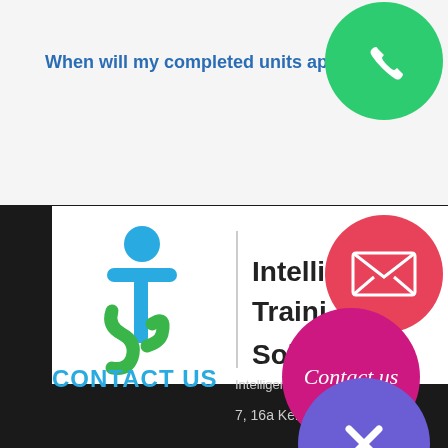When will my completed units appear
[Figure (logo): Green phone icon on green circle (call button)]
[Figure (logo): Email/envelope icon on red circle (email button)]
[Figure (logo): Intelligent Training Solutions logo: ITS icon with blue and green colors, vertical bar, text 'Intelligent Training Solutions']
[Figure (logo): Contact us button - magenta circle with cursive 'Contact us' text]
[Figure (logo): Close/X button - purple circle with X symbol]
CONTACT US
Intelligent Training So
7, 16a Keilor Park Drive